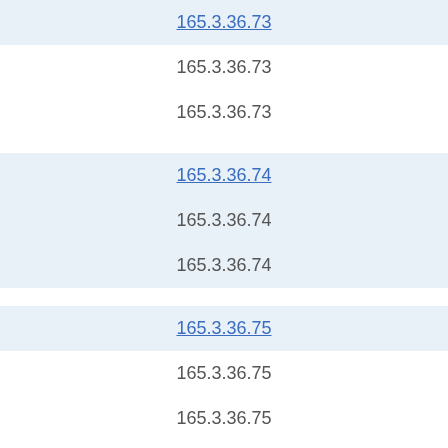165.3.36.73 (link)
165.3.36.73
165.3.36.73
165.3.36.74 (link)
165.3.36.74
165.3.36.74
165.3.36.75 (link)
165.3.36.75
165.3.36.75